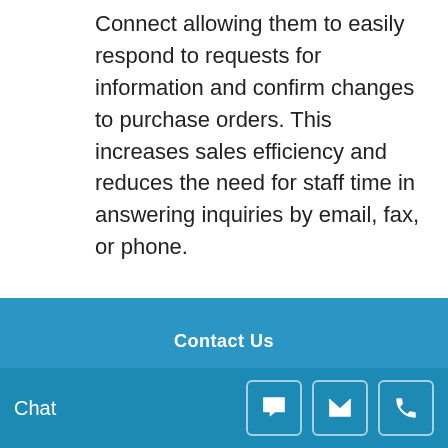Connect allowing them to easily respond to requests for information and confirm changes to purchase orders. This increases sales efficiency and reduces the need for staff time in answering inquiries by email, fax, or phone.
For more information about how Epicor can provide ease and greater visibility to your supply chain management, contact EstesGroup today.
Contact Us
Chat